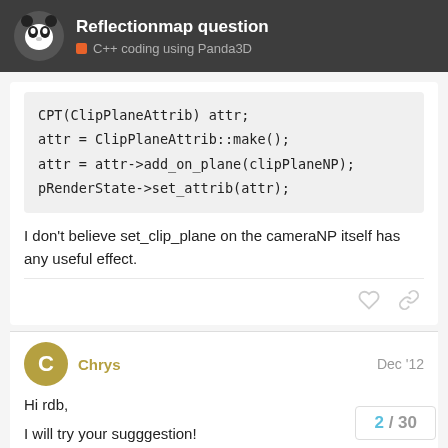Reflectionmap question
C++ coding using Panda3D
CPT(ClipPlaneAttrib) attr;
attr = ClipPlaneAttrib::make();
attr = attr->add_on_plane(clipPlaneNP);
pRenderState->set_attrib(attr);
I don't believe set_clip_plane on the cameraNP itself has any useful effect.
Chrys
Dec '12
Hi rdb,
I will try your sugggestion!
About it not having any useful effect...
2 / 30